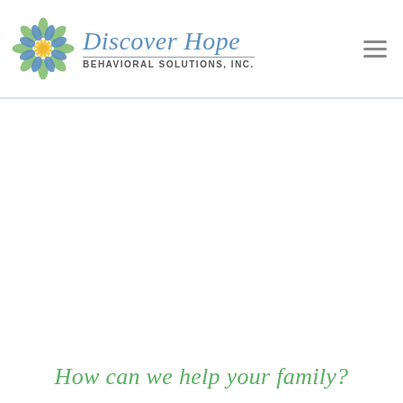[Figure (logo): Discover Hope Behavioral Solutions, Inc. logo — mandala/flower icon in blue and green with yellow center, alongside the company name in blue italic script and subtitle in grey sans-serif capitals]
How can we help your family?